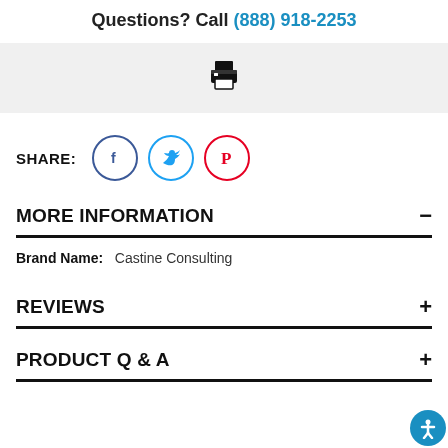Questions? Call (888) 918-2253
[Figure (illustration): Print icon (printer icon) in a gray bar]
SHARE: [Facebook icon] [Twitter icon] [Pinterest icon]
MORE INFORMATION
Brand Name:  Castine Consulting
REVIEWS
PRODUCT Q & A